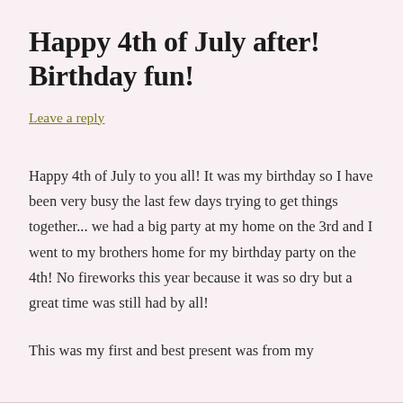Happy 4th of July after! Birthday fun!
Leave a reply
Happy 4th of July to you all!  It was my birthday so I have been very busy the last few days trying to get things together... we had a big party at my home on the 3rd and I went to my brothers home for my birthday party on the 4th!  No fireworks this year because it was so dry but a great time was still had by all!
This was my first and best present was from my